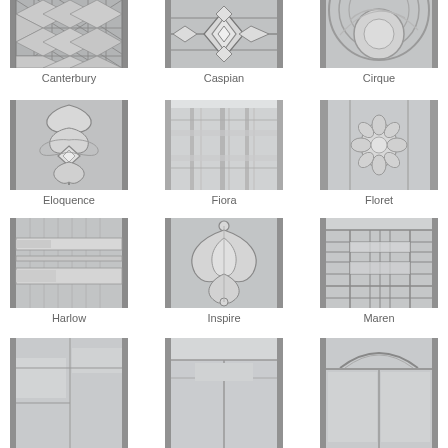[Figure (photo): Glass panel with diamond/lattice stained glass pattern - Canterbury]
Canterbury
[Figure (photo): Glass panel with geometric diamond flower stained glass pattern - Caspian]
Caspian
[Figure (photo): Glass panel with circular etched glass pattern - Cirque]
Cirque
[Figure (photo): Glass panel with ornate floral/baroque stained glass pattern - Eloquence]
Eloquence
[Figure (photo): Glass panel with vertical lines art deco stained glass pattern - Fiora]
Fiora
[Figure (photo): Glass panel with etched floral/floret pattern - Floret]
Floret
[Figure (photo): Glass panel with horizontal bands art deco pattern - Harlow]
Harlow
[Figure (photo): Glass panel with elegant lily/inspire decorative etched pattern - Inspire]
Inspire
[Figure (photo): Glass panel with geometric grid craftsman pattern - Maren]
Maren
[Figure (photo): Glass panel - partially visible bottom row left]
[Figure (photo): Glass panel - partially visible bottom row center]
[Figure (photo): Glass panel with arch - partially visible bottom row right]